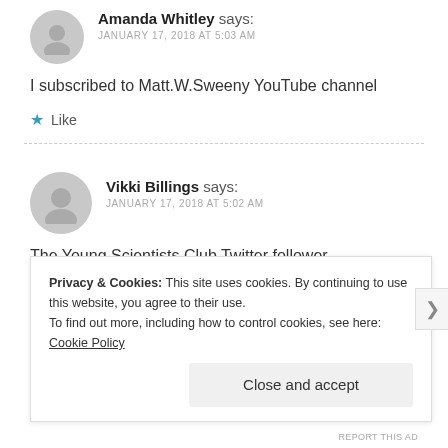Amanda Whitley says: JANUARY 17, 2018 AT 5:03 AM
I subscribed to Matt.W.Sweeny YouTube channel
★ Like
Vikki Billings says: JANUARY 17, 2018 AT 5:02 AM
The Young Scientists Club Twitter follower (@VikkiBillings)
Privacy & Cookies: This site uses cookies. By continuing to use this website, you agree to their use.
To find out more, including how to control cookies, see here: Cookie Policy
Close and accept